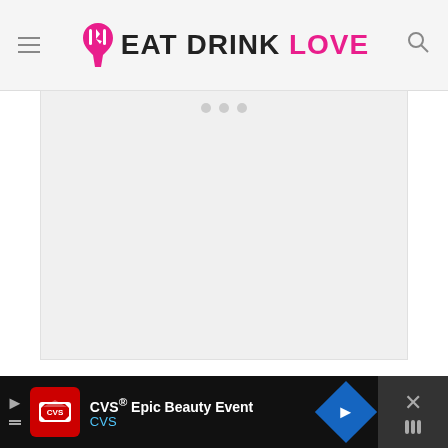EAT DRINK LOVE
[Figure (photo): Image placeholder area with three navigation dots at top center, white/light gray background]
INGREDIENTS
5 ounces tuna, drained
2 tablespoons plain Greek yogurt (or mayo)
[Figure (other): Advertisement banner: CVS Epic Beauty Event ad with CVS pharmacy logo, navigation arrow and close button]